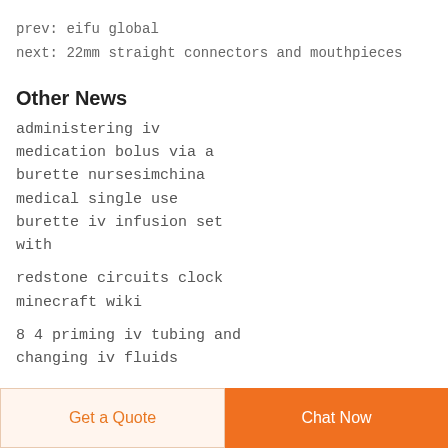prev: eifu global
next: 22mm straight connectors and mouthpieces
Other News
administering iv medication bolus via a burette nursesimchina medical single use burette iv infusion set with
redstone circuits clock minecraft wiki
8 4 priming iv tubing and changing iv fluids
Get a Quote  Chat Now